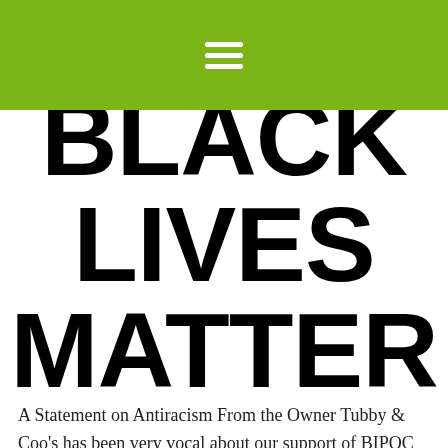≡
[Figure (illustration): Black Lives Matter logo text in large bold black letters on white background, partially cropped at top showing 'LIVES MATTER' fully and partial top of 'BLACK']
A Statement on Antiracism From the Owner Tubby & Coo's has been very vocal about our support of BIPOC communities (Black, Indigenous, People of Color), and we believe that racism intersects with homophobia, misogyny, xenophobia, classism, ableism, and every -ism …